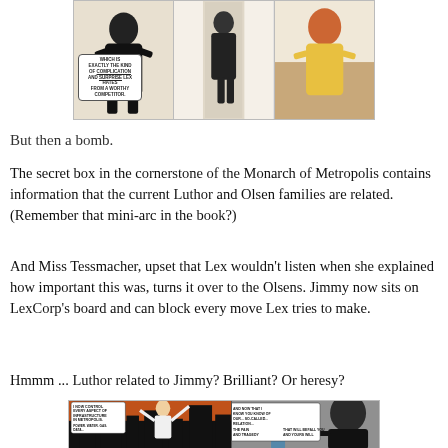[Figure (illustration): Three comic book panels showing characters in various scenes. First panel shows a woman in black. Second panel shows a figure in a doorway. Third panel shows a woman with red hair. Speech bubble text in first panel reads 'WHICH IS EXACTLY THE KIND OF COMPLICATION AND SURPRISE LEX HATES FROM A WORTHY COMPETITOR.']
But then a bomb.
The secret box in the cornerstone of the Monarch of Metropolis contains information that the current Luthor and Olsen families are related. (Remember that mini-arc in the book?)
And Miss Tessmacher, upset that Lex wouldn't listen when she explained how important this was, turns it over to the Olsens. Jimmy now sits on LexCorp's board and can block every move Lex tries to make.
Hmmm ... Luthor related to Jimmy? Brilliant? Or heresy?
[Figure (illustration): Two comic book panels. Left panel shows a triumphant bald figure against an orange sky with city buildings, with speech bubbles. Right panel shows Lex Luthor in profile against dark background with speech bubbles.]